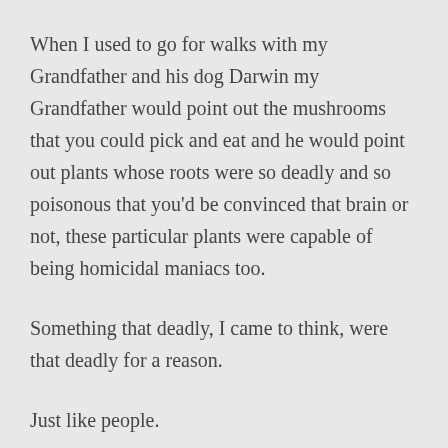When I used to go for walks with my Grandfather and his dog Darwin my Grandfather would point out the mushrooms that you could pick and eat and he would point out plants whose roots were so deadly and so poisonous that you'd be convinced that brain or not, these particular plants were capable of being homicidal maniacs too.
Something that deadly, I came to think, were that deadly for a reason.
Just like people.
Sometimes we would go to the back part of his property where we have an honest to goodness family cemetery- most of the markings on the gravestones had been